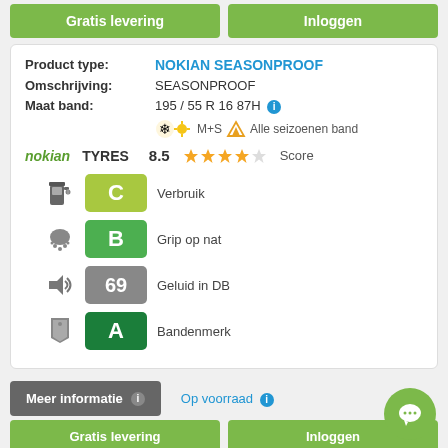Gratis levering | Inloggen (top buttons)
Product type: NOKIAN SEASONPROOF
Omschrijving: SEASONPROOF
Maat band: 195 / 55 R 16 87H
Alle seizoenen band
nokian TYRES 8.5 Score
[Figure (infographic): Fuel efficiency label C (yellow-green badge), icon: fuel pump. Label: Verbruik]
[Figure (infographic): Wet grip label B (green badge), icon: rain cloud. Label: Grip op nat]
[Figure (infographic): Noise level 69 dB (grey badge), icon: speaker. Label: Geluid in DB]
[Figure (infographic): Tyre mark label A (dark green badge), icon: price tag. Label: Bandenmerk]
Meer informatie
Op voorraad
Gratis levering | Inloggen (bottom buttons)